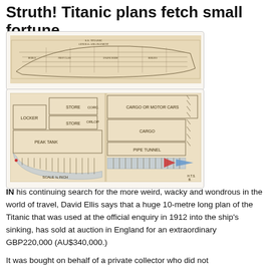Struth! Titanic plans fetch small fortune
[Figure (photo): Wide horizontal engineering blueprint/plan of the Titanic ship, aged yellowed paper with detailed cross-section drawings]
[Figure (photo): Two side-by-side close-up sections of Titanic engineering plans showing labeled compartments: LOCKER, STORE, PEAK TANK, CARGO OR MOTOR CARS, CARGO, PIPE TUNNEL, ORLOP, SCALE 3/4 INCH, with blue and red color markings]
IN his continuing search for the more weird, wacky and wondrous in the world of travel, David Ellis says that a huge 10-metre long plan of the Titanic that was used at the official enquiry in 1912 into the ship's sinking, has sold at auction in England for an extraordinary GBP220,000 (AU$340,000.)
It was bought on behalf of a private collector who did not